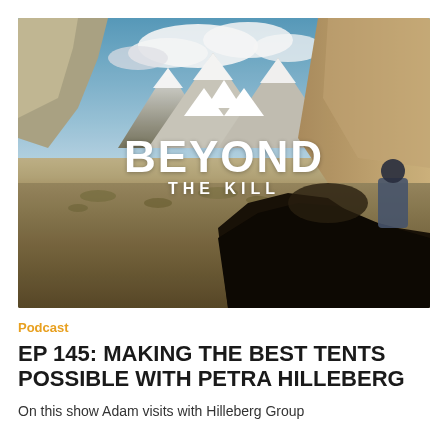[Figure (photo): Outdoor landscape photo showing snow-capped mountains, rocky hills, and arid terrain. A person and a dark-furred animal (likely a yak) are visible in the foreground. A white mountain logo and the text 'BEYOND THE KILL' are overlaid on the center of the image.]
Podcast
EP 145: MAKING THE BEST TENTS POSSIBLE WITH PETRA HILLEBERG
On this show Adam visits with Hilleberg Group